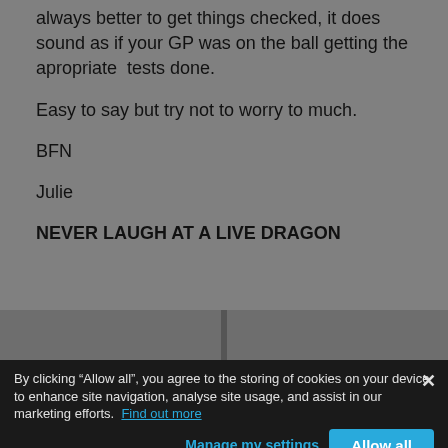always better to get things checked, it does sound as if your GP was on the ball getting the apropriate  tests done.

Easy to say but try not to worry to much.

BFN

Julie

NEVER LAUGH AT A LIVE DRAGON
By clicking “Allow all”, you agree to the storing of cookies on your device to enhance site navigation, analyse site usage, and assist in our marketing efforts. Find out more
Manage my settings
Allow all